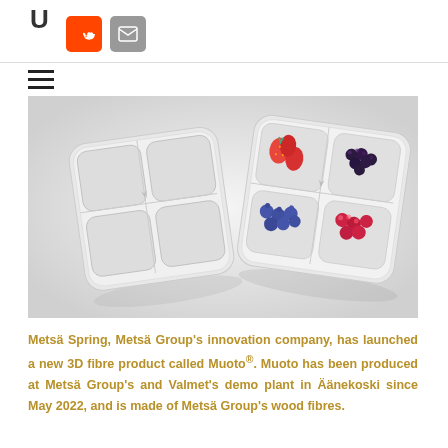U
[Figure (photo): Two white molded fiber trays: one empty four-compartment tray on the left, and one filled with strawberries, blackberries, blueberries, and raspberries on the right, on a light grey background.]
Metsä Spring, Metsä Group's innovation company, has launched a new 3D fibre product called Muoto®. Muoto has been produced at Metsä Group's and Valmet's demo plant in Äänekoski since May 2022, and is made of Metsä Group's wood fibres.